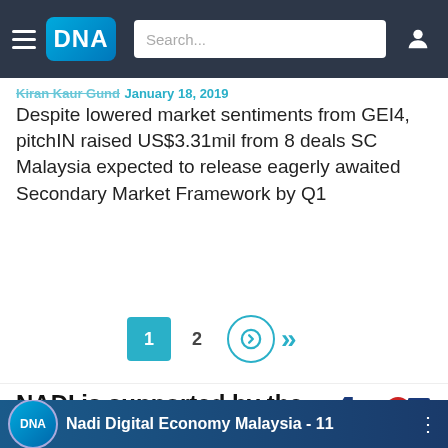DNA — Navigation bar with hamburger menu, DNA logo, search box, and user icon
Kiran Kaur Gund January 18, 2019
Despite lowered market sentiments from GEI4, pitchIN raised US$3.31mil from 8 deals SC Malaysia expected to release eagerly awaited Secondary Market Framework by Q1
Pagination: 1 2 → »
NADI is supported by the National 4IR Policy
[Figure (logo): 4th Industrial Revolution logo with stylized 4IR text in red and blue]
[Figure (screenshot): Video thumbnail showing Nadi Digital Economy Malaysia - 11 with DNA logo]